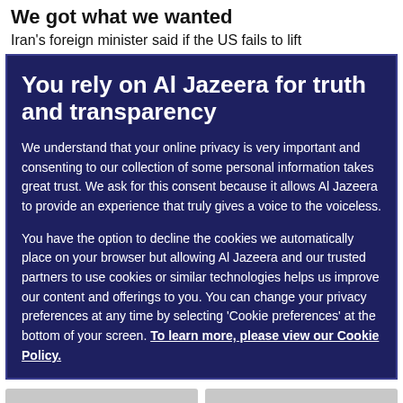We got what we wanted
Iran's foreign minister said if the US fails to lift
You rely on Al Jazeera for truth and transparency
We understand that your online privacy is very important and consenting to our collection of some personal information takes great trust. We ask for this consent because it allows Al Jazeera to provide an experience that truly gives a voice to the voiceless.
You have the option to decline the cookies we automatically place on your browser but allowing Al Jazeera and our trusted partners to use cookies or similar technologies helps us improve our content and offerings to you. You can change your privacy preferences at any time by selecting 'Cookie preferences' at the bottom of your screen. To learn more, please view our Cookie Policy.